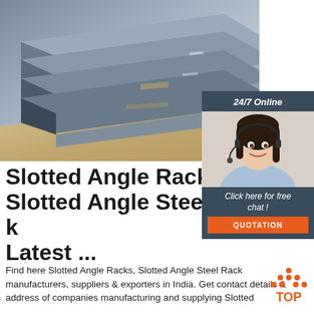[Figure (photo): Stack of slotted angle steel plates/flat bars, metallic grey with rust tones, industrial setting]
[Figure (infographic): 24/7 Online chat widget with female customer service agent wearing headset, 'Click here for free chat!' text and orange QUOTATION button]
Slotted Angle Racks - Slotted Angle Steel Rack Latest ...
Find here Slotted Angle Racks, Slotted Angle Steel Rack manufacturers, suppliers & exporters in India. Get contact details & address of companies manufacturing and supplying Slotted
[Figure (infographic): Orange TOP scroll-to-top button with triangle/arrow icon]